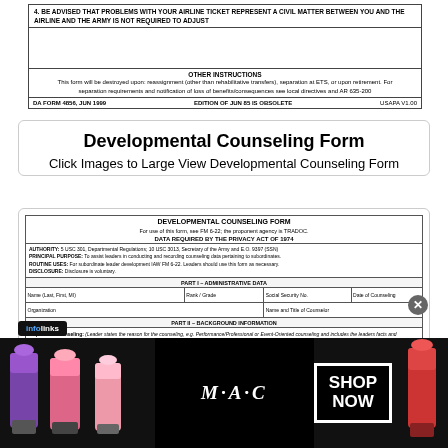[Figure (other): Bottom portion of DA Form 4856 JUN 1999 showing warning text about airline tickets, Other Instructions section, and form footer]
Developmental Counseling Form
Click Images to Large View Developmental Counseling Form
[Figure (other): Developmental Counseling Form (DA Form) showing header, Privacy Act data, Part I Administrative Data fields, Part II Background Information, and sample counseling text about UH Army ROTC]
[Figure (other): Infolinks advertisement banner showing M·A·C cosmetics lipstick products with SHOP NOW button]